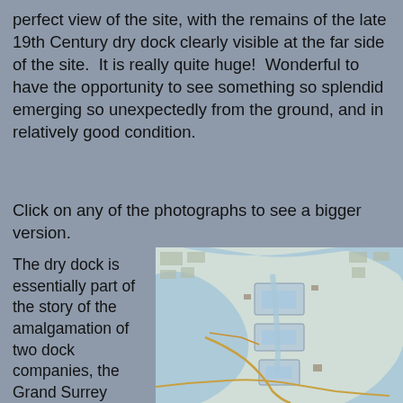perfect view of the site, with the remains of the late 19th Century dry dock clearly visible at the far side of the site. It is really quite huge! Wonderful to have the opportunity to see something so splendid emerging so unexpectedly from the ground, and in relatively good condition.
Click on any of the photographs to see a bigger version.
The dry dock is essentially part of the story of the amalgamation of two dock companies, the Grand Surrey Canal and Docks Company and the Surrey Commercial Dock Company. The first
[Figure (map): Historical map showing a river bend (Thames) with docks, canals, and urban fabric in what appears to be the Surrey Docks area of London.]